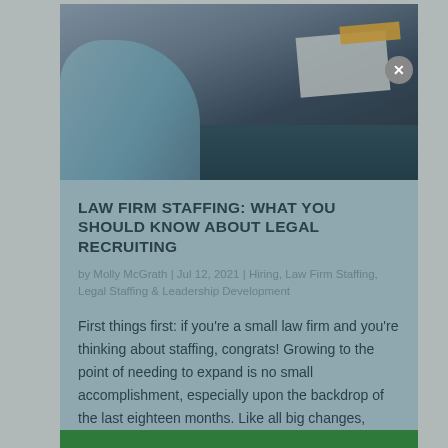[Figure (photo): Photo of people at a desk in a law firm or office setting, showing hands and documents on a teal-colored desk surface]
LAW FIRM STAFFING: WHAT YOU SHOULD KNOW ABOUT LEGAL RECRUITING
by Molly McGrath | Jul 12, 2021 | Hiring, Law Firm Staffing, Legal Staffing & Leadership Development
First things first: if you're a small law firm and you're thinking about staffing, congrats! Growing to the point of needing to expand is no small accomplishment, especially upon the backdrop of the last eighteen months. Like all big changes, bringing new people...